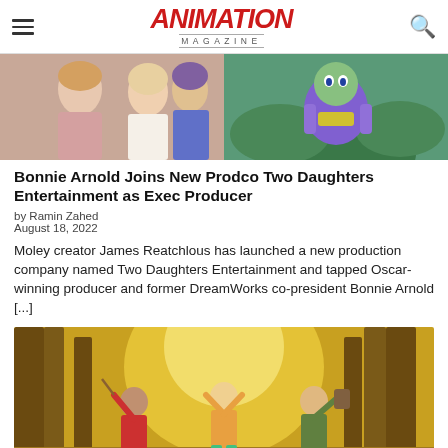Animation Magazine
[Figure (photo): Split image: left side shows two women and a man posing together at an event; right side shows an animated character in a purple and green costume]
Bonnie Arnold Joins New Prodco Two Daughters Entertainment as Exec Producer
by Ramin Zahed
August 18, 2022
Moley creator James Reatchlous has launched a new production company named Two Daughters Entertainment and tapped Oscar-winning producer and former DreamWorks co-president Bonnie Arnold [...]
[Figure (photo): Three children running joyfully through a glowing, golden forest — appears to be a movie still with a warm, magical atmosphere]